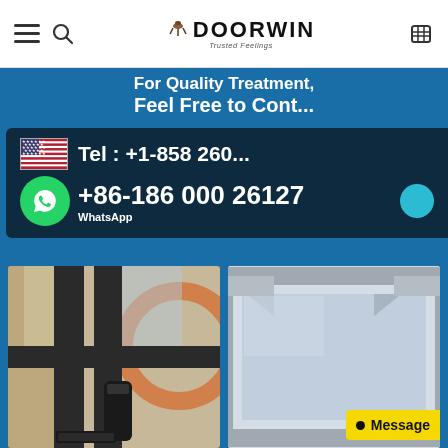DOORWIN - Trusted Feelings (navigation bar with logo, hamburger menu, search, and cart icons)
[Figure (screenshot): Blue promotional banner with text 'For Quality Treatment... Feel Free to Cont...' and a dark contact information box showing US flag, Tel: +1-858 260... and WhatsApp: +86-186 000 26127]
[Figure (photo): Close-up photo of dark aluminum window frame with handle and hardware detail]
[Figure (photo): Close-up photo of white/grey aluminum window frame corner detail]
Message